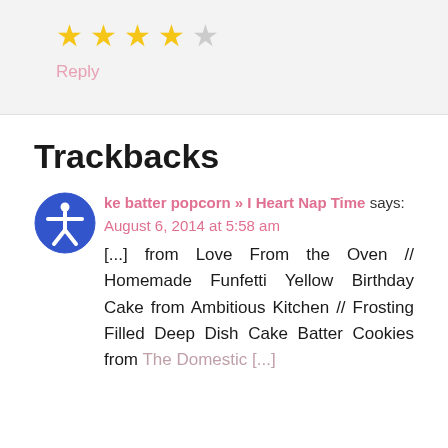[Figure (other): 4 filled gold stars and 1 empty gray star rating]
Reply
Trackbacks
cake batter popcorn » I Heart Nap Time says:
August 6, 2014 at 5:58 am
[...] from Love From the Oven // Homemade Funfetti Yellow Birthday Cake from Ambitious Kitchen // Frosting Filled Deep Dish Cake Batter Cookies from The Domestic [...]